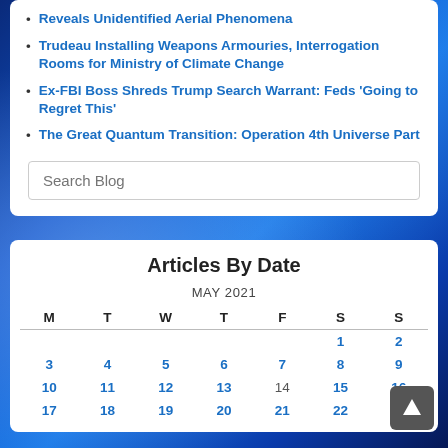Reveals Unidentified Aerial Phenomena
Trudeau Installing Weapons Armouries, Interrogation Rooms for Ministry of Climate Change
Ex-FBI Boss Shreds Trump Search Warrant: Feds 'Going to Regret This'
The Great Quantum Transition: Operation 4th Universe Part 5 – 3
Search Blog
Articles By Date
| M | T | W | T | F | S | S |
| --- | --- | --- | --- | --- | --- | --- |
|  |  |  |  |  | 1 | 2 |
| 3 | 4 | 5 | 6 | 7 | 8 | 9 |
| 10 | 11 | 12 | 13 | 14 | 15 | 16 |
| 17 | 18 | 19 | 20 | 21 | 22 | 23 |